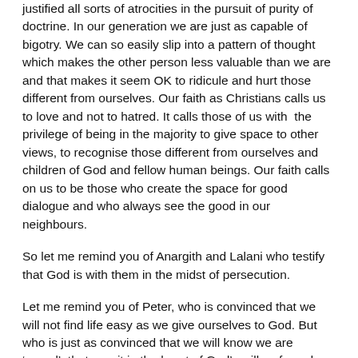justified all sorts of atrocities in the pursuit of purity of doctrine. In our generation we are just as capable of bigotry. We can so easily slip into a pattern of thought which makes the other person less valuable than we are and that makes it seem OK to ridicule and hurt those different from ourselves. Our faith as Christians calls us to love and not to hatred. It calls those of us with the privilege of being in the majority to give space to other views, to recognise those different from ourselves and children of God and fellow human beings. Our faith calls on us to be those who create the space for good dialogue and who always see the good in our neighbours.
So let me remind you of Anargith and Lalani who testify that God is with them in the midst of persecution.
Let me remind you of Peter, who is convinced that we will not find life easy as we give ourselves to God. But who is just as convinced that we will know we are ‘saved’: that we sit in the heart of God’s will, safe and secure in God’s love. Sure